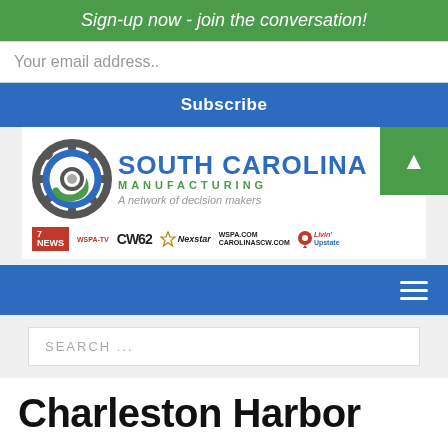Sign-up now - join the conversation!
Your email address..
Subscribe
[Figure (logo): South Carolina Manufacturing logo with gear icon, tagline 'A network of decision makers', and media partner logos: 7NEWS WSPA-TV, CW62, Nexstar, WSPA.COM CAROLINASCW.COM, Livin' Upstate]
SEARCH ...
Charleston Harbor